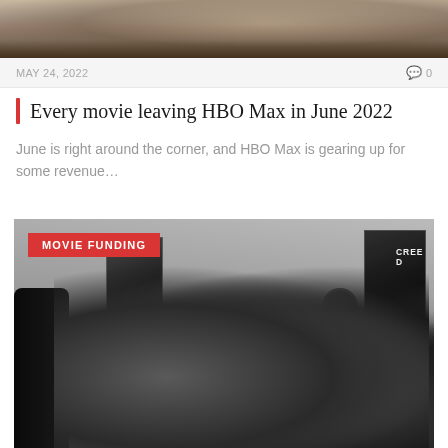[Figure (photo): Partial top image showing dark grainy scene, appears to be an outdoor or action scene]
MAY 24, 2022
0
Every movie leaving HBO Max in June 2022
June is right around the corner, and HBO Max is gearing up for some revenue…
[Figure (photo): Black and white photo of a family watching movies in a home theater room with movie posters including CREED on the wall. A badge reading MOVIE FUNDING is overlaid in the top-left corner.]